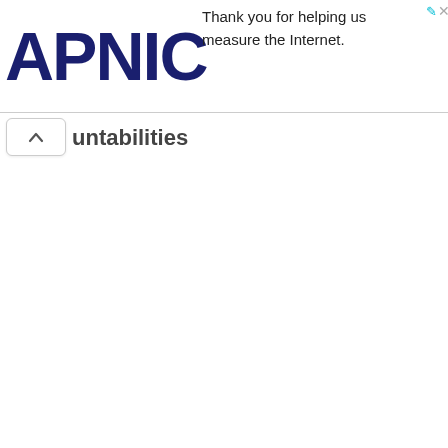[Figure (logo): APNIC logo — large dark navy bold text spelling APNIC]
Thank you for helping us measure the Internet.
untabilities